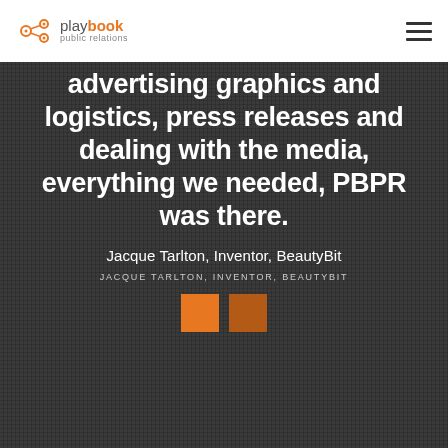playbook public relations
advertising graphics and logistics, press releases and dealing with the media, everything we needed, PBPR was there.
Jacque Tarlton, Inventor, BeautyBit
JACQUE TARLTON, INVENTOR, BEAUTYBIT